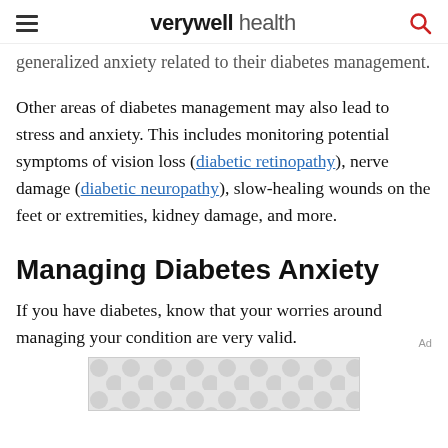verywell health
generalized anxiety related to their diabetes management.
Other areas of diabetes management may also lead to stress and anxiety. This includes monitoring potential symptoms of vision loss (diabetic retinopathy), nerve damage (diabetic neuropathy), slow-healing wounds on the feet or extremities, kidney damage, and more.
Managing Diabetes Anxiety
If you have diabetes, know that your worries around managing your condition are very valid.
[Figure (other): Advertisement placeholder with grey dot pattern background]